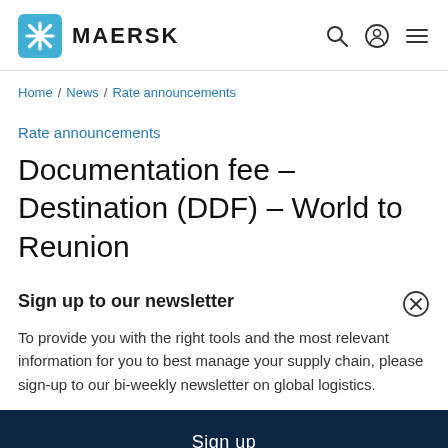MAERSK
Home / News / Rate announcements
Rate announcements
Documentation fee – Destination (DDF) – World to Reunion
Sign up to our newsletter
To provide you with the right tools and the most relevant information for you to best manage your supply chain, please sign-up to our bi-weekly newsletter on global logistics.
Sign up